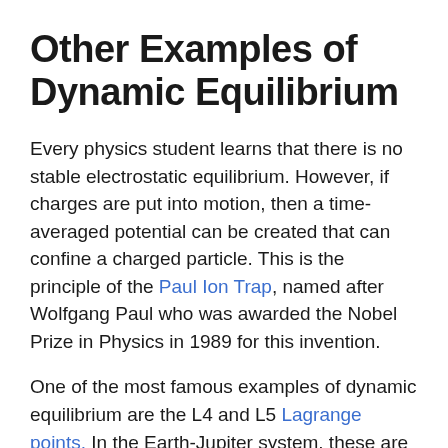Other Examples of Dynamic Equilibrium
Every physics student learns that there is no stable electrostatic equilibrium. However, if charges are put into motion, then a time-averaged potential can be created that can confine a charged particle. This is the principle of the Paul Ion Trap, named after Wolfgang Paul who was awarded the Nobel Prize in Physics in 1989 for this invention.
One of the most famous examples of dynamic equilibrium are the L4 and L5 Lagrange points. In the Earth-Jupiter system, these are the locations of the Trojan asteroids. These special Lagrange points are